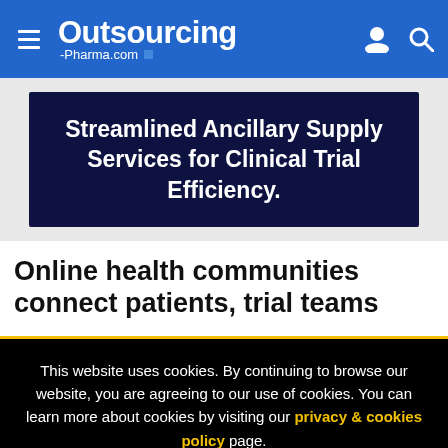Outsourcing-Pharma.com
[Figure (infographic): Dark navy banner advertisement: Streamlined Ancillary Supply Services for Clinical Trial Efficiency.]
Online health communities connect patients, trial teams
This website uses cookies. By continuing to browse our website, you are agreeing to our use of cookies. You can learn more about cookies by visiting our privacy & cookies policy page.